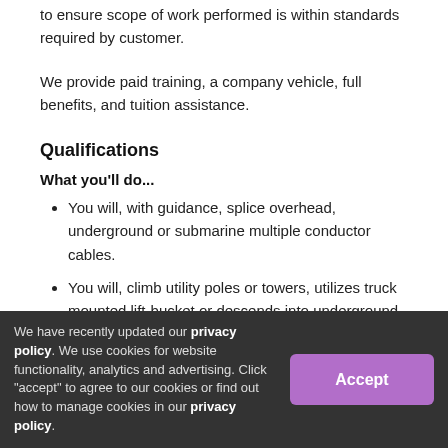to ensure scope of work performed is within standards required by customer.
We provide paid training, a company vehicle, full benefits, and tuition assistance.
Qualifications
What you'll do...
You will, with guidance, splice overhead, underground or submarine multiple conductor cables.
You will, climb utility poles or towers, utilizes truck mounted lift-bucket or descends into underground vaults
We have recently updated our privacy policy. We use cookies for website functionality, analytics and advertising. Click "accept" to agree to our cookies or find out how to manage cookies in our privacy policy.